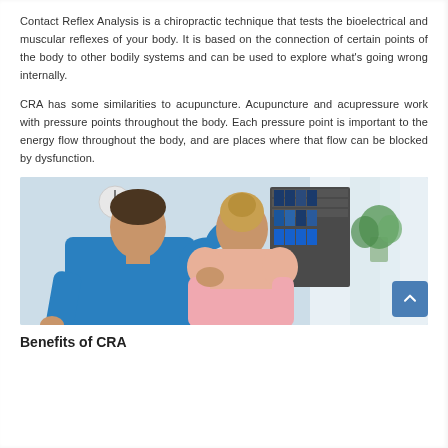Contact Reflex Analysis is a chiropractic technique that tests the bioelectrical and muscular reflexes of your body. It is based on the connection of certain points of the body to other bodily systems and can be used to explore what's going wrong internally.
CRA has some similarities to acupuncture. Acupuncture and acupressure work with pressure points throughout the body. Each pressure point is important to the energy flow throughout the body, and are places where that flow can be blocked by dysfunction.
[Figure (photo): A chiropractor in blue scrubs examining a female patient's back/shoulder area, both viewed from behind. Office shelving with binders visible in the background along with a plant.]
Benefits of CRA